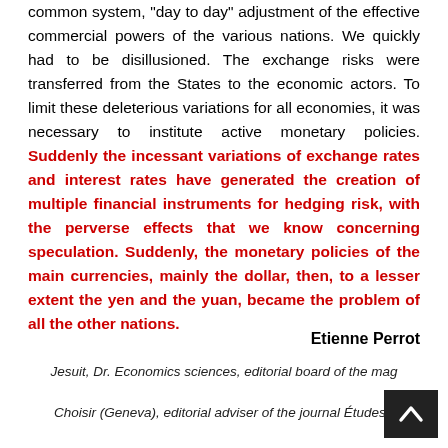common system, day to day adjustment of the effective commercial powers of the various nations. We quickly had to be disillusioned. The exchange risks were transferred from the States to the economic actors. To limit these deleterious variations for all economies, it was necessary to institute active monetary policies. Suddenly the incessant variations of exchange rates and interest rates have generated the creation of multiple financial instruments for hedging risk, with the perverse effects that we know concerning speculation. Suddenly, the monetary policies of the main currencies, mainly the dollar, then, to a lesser extent the yen and the yuan, became the problem of all the other nations.
Etienne Perrot
Jesuit, Dr. Economics sciences, editorial board of the magazine Choisir (Geneva), editorial adviser of the journal Études (